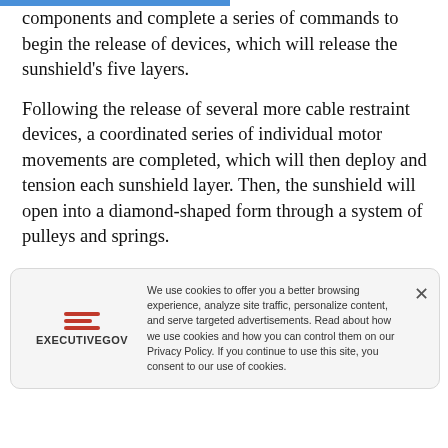components and complete a series of commands to begin the release of devices, which will release the sunshield's five layers.
Following the release of several more cable restraint devices, a coordinated series of individual motor movements are completed, which will then deploy and tension each sunshield layer. Then, the sunshield will open into a diamond-shaped form through a system of pulleys and springs.
We use cookies to offer you a better browsing experience, analyze site traffic, personalize content, and serve targeted advertisements. Read about how we use cookies and how you can control them on our Privacy Policy. If you continue to use this site, you consent to our use of cookies.